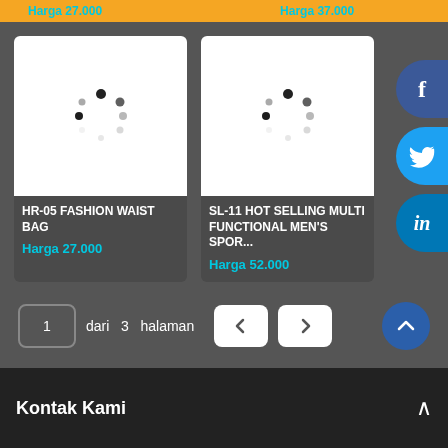Harga 27.000
Harga 37.000
[Figure (screenshot): Product card with loading spinner for HR-05 FASHION WAIST BAG]
HR-05 FASHION WAIST BAG
Harga 27.000
[Figure (screenshot): Product card with loading spinner for SL-11 HOT SELLING MULTI FUNCTIONAL MEN'S SPORT]
SL-11 HOT SELLING MULTI FUNCTIONAL MEN'S SPOR...
Harga 52.000
1  dari  3  halaman
Kontak Kami